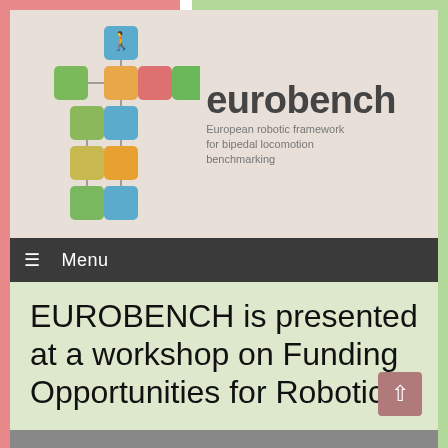[Figure (logo): Eurobench logo: a cross-shaped grid of colored icons of humanoid figures in various poses, next to the text 'eurobench' and subtitle 'European robotic framework for bipedal locomotion benchmarking']
☰  Menu
EUROBENCH is presented at a workshop on Funding Opportunities for Robotics